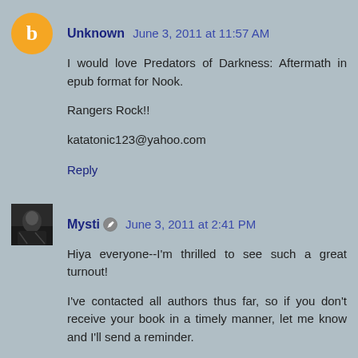Unknown June 3, 2011 at 11:57 AM
I would love Predators of Darkness: Aftermath in epub format for Nook.

Rangers Rock!!

katatonic123@yahoo.com
Reply
Mysti June 3, 2011 at 2:41 PM
Hiya everyone--I'm thrilled to see such a great turnout!

I've contacted all authors thus far, so if you don't receive your book in a timely manner, let me know and I'll send a reminder.

I've also kept up with the changing number available. Some of them had multiple copies to offer, so make sure you